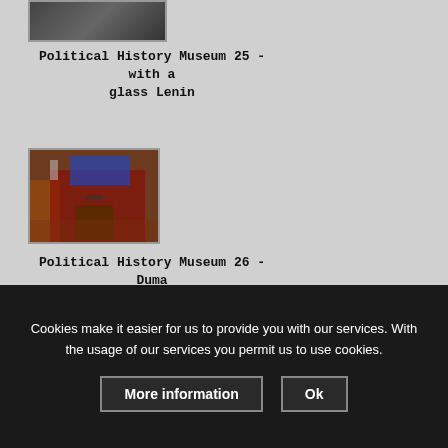[Figure (photo): Partial view of a dark exhibit photo at Political History Museum, top of image cropped]
Political History Museum 25 - with a glass Lenin
[Figure (photo): Interior of a large hall with seating and a podium, Duma section of the Political History Museum]
Political History Museum 26 - Duma section
Cookies make it easier for us to provide you with our services. With the usage of our services you permit us to use cookies.
More information
Ok